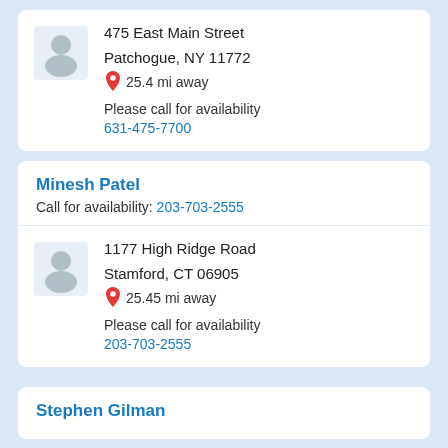475 East Main Street
Patchogue, NY 11772
25.4 mi away
Please call for availability
631-475-7700
Minesh Patel
Call for availability: 203-703-2555
1177 High Ridge Road
Stamford, CT 06905
25.45 mi away
Please call for availability
203-703-2555
Stephen Gilman